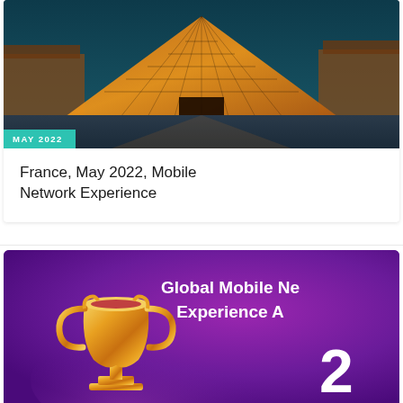[Figure (photo): Louvre Museum glass pyramid illuminated at night with warm orange lighting against a teal sky]
MAY 2022
France, May 2022, Mobile Network Experience
[Figure (photo): Gold trophy cup against a purple smoky background with text 'Global Mobile Network Experience Awards 2...']